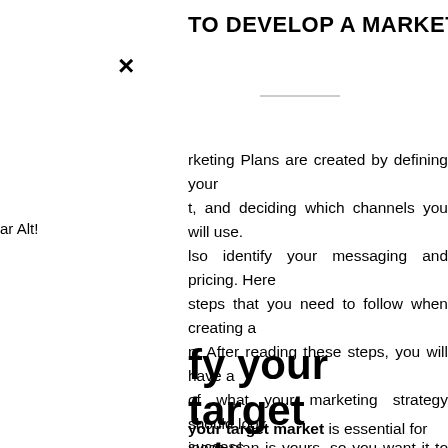TO DEVELOP A MARKETING PLAN
×
ar Alt!
rketing Plans are created by defining your t, and deciding which channels you will use. lso identify your messaging and pricing. Here steps that you need to follow when creating a n. After reading these steps, you will have a of what your marketing strategy should look iness plan is yours, so you want it to be the you have virtually any questions relating to ne way to employ Marketing Plans, you are l us on our own web-page.
fy your target et
your target market is essential for success.